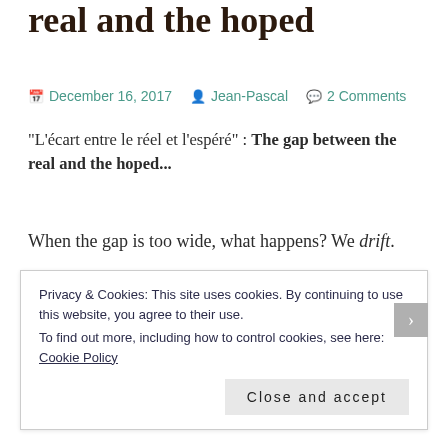real and the hoped
December 16, 2017   Jean-Pascal   2 Comments
“L’écart entre le réel et l’espéré” : The gap between the real and the hoped...
When the gap is too wide, what happens? We drift.
Drifting is boat vocabulary. You can say you’re out of gas. Or you’re stuck. Parked. You’re powerless. Whatever.
Privacy & Cookies: This site uses cookies. By continuing to use this website, you agree to their use.
To find out more, including how to control cookies, see here: Cookie Policy
Close and accept